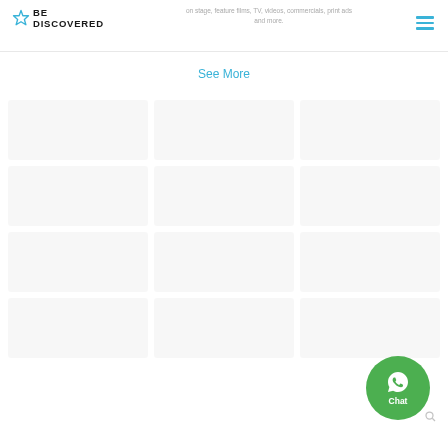Be Discovered — on stage, feature films, TV, videos, commercials, print ads and more.
See More
[Figure (screenshot): Faint blurred content cards in the background, mostly white/grey placeholder cards arranged in rows]
[Figure (other): Green circular WhatsApp Chat button in the bottom right corner with WhatsApp icon and 'Chat' label]